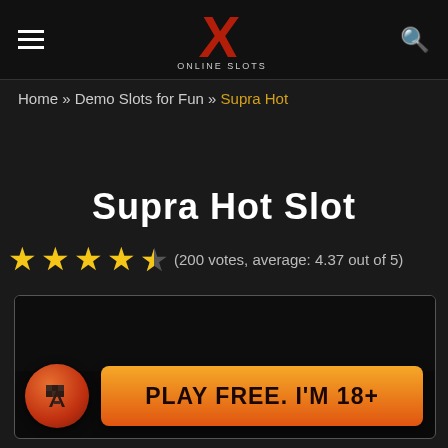Online Slots X – site header with hamburger menu and search icon
Home » Demo Slots for Fun » Supra Hot
Supra Hot Slot
(200 votes, average: 4.37 out of 5)
[Figure (screenshot): Game embed frame with dark background, a circular orange-red spin button with checkered flag icon, and an orange gradient 'PLAY FREE. I'M 18+' button]